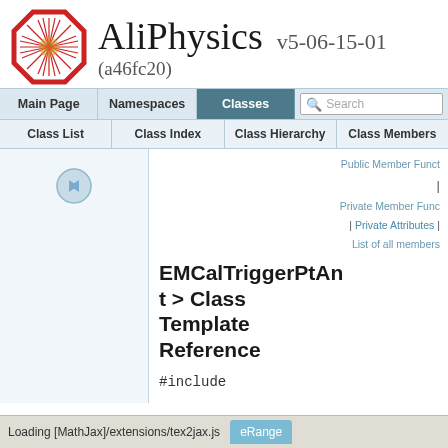AliPhysics v5-06-15-01 (a46fc20)
Main Page | Namespaces | Classes | Search
Class List | Class Index | Class Hierarchy | Class Members
Public Member Funct
|
Private Member Func
| Private Attributes |
List of all members
EMCalTriggerPtAn t > Class Template Reference
#include
Loading [MathJax]/extensions/tex2jax.js    eRange